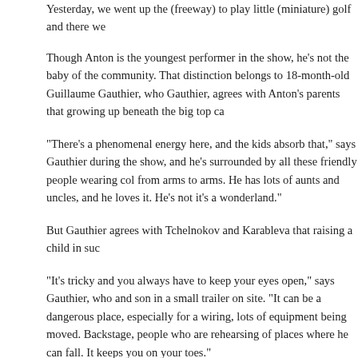Yesterday, we went up the (freeway) to play little (miniature) golf and there we
Though Anton is the youngest performer in the show, he’s not the baby of the community. That distinction belongs to 18-month-old Guillaume Gauthier, who Gauthier, agrees with Anton’s parents that growing up beneath the big top ca
“There’s a phenomenal energy here, and the kids absorb that,” says Gauthier during the show, and he’s surrounded by all these friendly people wearing col from arms to arms. He has lots of aunts and uncles, and he loves it. He’s not it’s a wonderland.”
But Gauthier agrees with Tchelnokov and Karableva that raising a child in suc
“It’s tricky and you always have to keep your eyes open,” says Gauthier, who and son in a small trailer on site. “It can be a dangerous place, especially for a wiring, lots of equipment being moved. Backstage, people who are rehearsing of places where he can fall. It keeps you on your toes.”
Even though his son won’t start school for three years, Gauthier says Guillau he’s already given plenty of thought. Gauthier values education (he holds a u done classical course work in Latin and Greek).
“There are pros and cons to every way of living,” Gauthier says. “Circus kids s